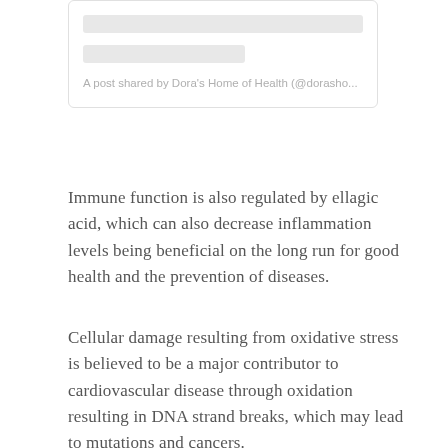[Figure (screenshot): Social media post placeholder with two gray loading bars and a caption reading 'A post shared by Dora's Home of Health (@dorasho...']
A post shared by Dora's Home of Health (@dorasho...
Immune function is also regulated by ellagic acid, which can also decrease inflammation levels being beneficial on the long run for good health and the prevention of diseases.
Cellular damage resulting from oxidative stress is believed to be a major contributor to cardiovascular disease through oxidation resulting in DNA strand breaks, which may lead to mutations and cancers.